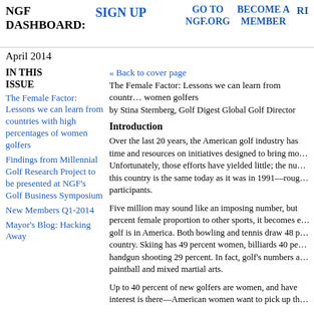NGF DASHBOARD: SIGN UP | GO TO NGF.ORG | BECOME A MEMBER | R...
April 2014
IN THIS ISSUE
« Back to cover page
The Female Factor: Lessons we can learn from countries with high percentages of women golfers
by Stina Sternberg, Golf Digest Global Golf Director
The Female Factor: Lessons we can learn from countries with high percentages of women golfers
Findings from Millennial Golf Research Project to be presented at NGF's Golf Business Symposium
New Members Q1-2014
Mayor's Blog: Hacking Away
Introduction
Over the last 20 years, the American golf industry has time and resources on initiatives designed to bring mo... Unfortunately, those efforts have yielded little; the nu... this country is the same today as it was in 1991—roug... participants.
Five million may sound like an imposing number, but percent female proportion to other sports, it becomes e... golf is in America. Both bowling and tennis draw 48 p... country. Skiing has 49 percent women, billiards 40 pe... handgun shooting 29 percent. In fact, golf's numbers a... paintball and mixed martial arts.
Up to 40 percent of new golfers are women, and have interest is there—American women want to pick up th...